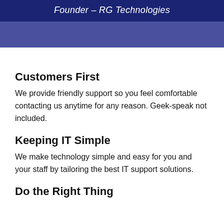Founder – RG Technologies
Customers First
We provide friendly support so you feel comfortable contacting us anytime for any reason. Geek-speak not included.
Keeping IT Simple
We make technology simple and easy for you and your staff by tailoring the best IT support solutions.
Do the Right Thing